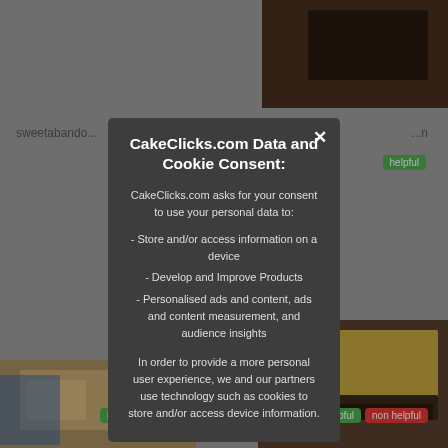[Figure (screenshot): Background screenshot of CakeClicks.com website with cake photos, user labels like 'sweetabando', helpful/non-helpful buttons, partially obscured by modal overlay]
CakeClicks.com Data and Cookie Consent:
CakeClicks.com asks for your consent to use your personal data to:
- Store and/or access information on a device
- Develop and Improve Products
- Personalised ads and content, ads and content measurement, and audience insights

In order to provide a more personal user experience, we and our partners use technology such as cookies to store and/or access device information.